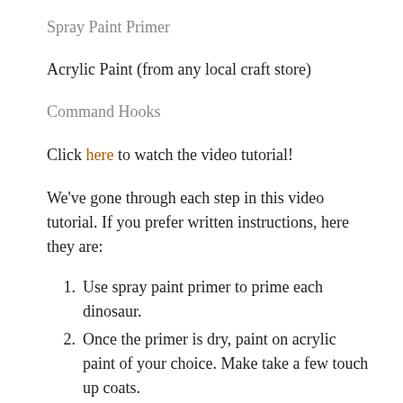Spray Paint Primer
Acrylic Paint (from any local craft store)
Command Hooks
Click here to watch the video tutorial!
We've gone through each step in this video tutorial. If you prefer written instructions, here they are:
Use spray paint primer to prime each dinosaur.
Once the primer is dry, paint on acrylic paint of your choice. Make take a few touch up coats.
After pain is dry, poke a small hole (using a knife or scissors) to the top of the dinosaur.